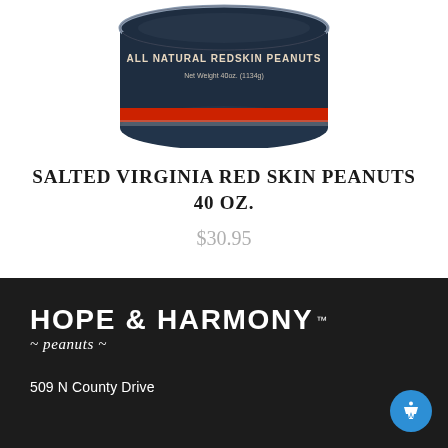[Figure (photo): Partial view of a tin can of All Natural Redskin Peanuts with dark navy/black lid and red band, Net Weight 40oz (1134g)]
SALTED VIRGINIA RED SKIN PEANUTS 40 OZ.
$30.95
[Figure (logo): Hope & Harmony Peanuts logo — large white bold uppercase lettering 'HOPE & HARMONY' with TM mark, and italic script '~ peanuts ~' below, on dark background]
509 N County Drive